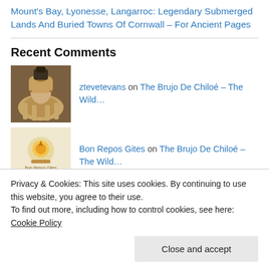Mount's Bay, Lyonesse, Langarroc: Legendary Submerged Lands And Buried Towns Of Cornwall – For Ancient Pages
Recent Comments
ztevetevans on The Brujo De Chiloé – The Wild…
Bon Repos Gites on The Brujo De Chiloé – The Wild…
ztevetevans on Native North American Lore: Th…
Privacy & Cookies: This site uses cookies. By continuing to use this website, you agree to their use.
To find out more, including how to control cookies, see here: Cookie Policy
Close and accept